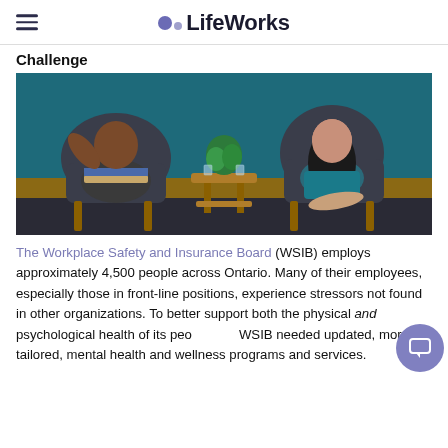LifeWorks
Challenge
[Figure (photo): Two people sitting in armchairs across from each other in a modern office with teal walls, appearing to have a conversation. A small wooden side table with a plant and glasses of water sits between them.]
The Workplace Safety and Insurance Board (WSIB) employs approximately 4,500 people across Ontario. Many of their employees, especially those in front-line positions, experience stressors not found in other organizations. To better support both the physical and psychological health of its people, the WSIB needed updated, more tailored, mental health and wellness programs and services.